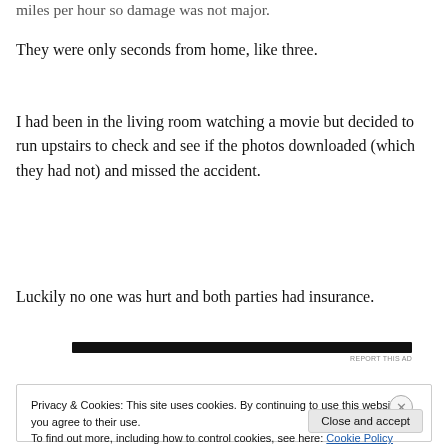miles per hour so damage was not major.
They were only seconds from home, like three.
I had been in the living room watching a movie but decided to run upstairs to check and see if the photos downloaded (which they had not) and missed the accident.
Luckily no one was hurt and both parties had insurance.
[Figure (other): Dark horizontal advertisement bar]
REPORT THIS AD
Privacy & Cookies: This site uses cookies. By continuing to use this website, you agree to their use.
To find out more, including how to control cookies, see here: Cookie Policy
Close and accept